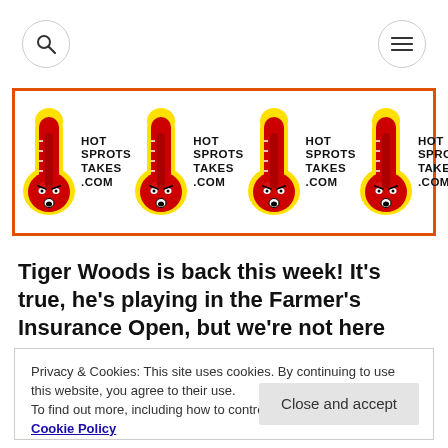[Figure (logo): Navigation bar with search icon (magnifying glass) on left and hamburger menu icon on right, both in circular buttons]
[Figure (logo): Banner with four repeated HOT SPROTS TAKES .COM logos, each featuring a red thermometer character with a yellow outline and angry face next to bold black text reading HOT SPROTS TAKES .COM, enclosed in an orange border]
Tiger Woods is back this week! It’s true, he’s playing in the Farmer’s Insurance Open, but we’re not here
Privacy & Cookies: This site uses cookies. By continuing to use this website, you agree to their use.
To find out more, including how to control cookies, see here: Cookie Policy
Close and accept